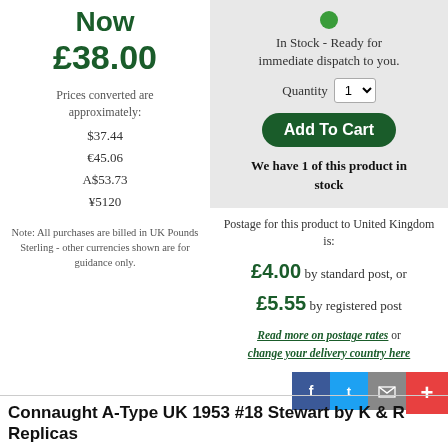Now
£38.00
Prices converted are approximately:
$37.44
€45.06
A$53.73
¥5120
Note: All purchases are billed in UK Pounds Sterling - other currencies shown are for guidance only.
[Figure (other): Green circle indicating in-stock status]
In Stock - Ready for immediate dispatch to you.
Quantity 1
Add To Cart
We have 1 of this product in stock
Postage for this product to United Kingdom is:
£4.00 by standard post, or £5.55 by registered post
Read more on postage rates or change your delivery country here
[Figure (other): Social sharing icons: Facebook, Twitter, Email, and a plus/share button]
Connaught A-Type UK 1953 #18 Stewart by K & R Replicas